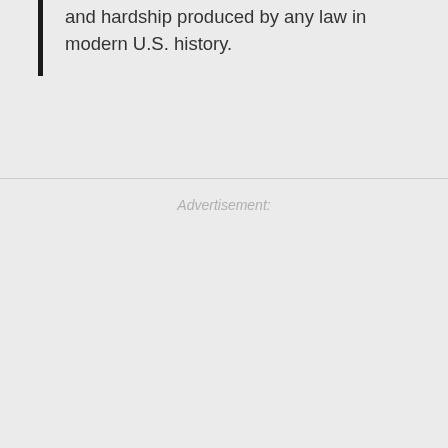and hardship produced by any law in modern U.S. history.
Advertisement: